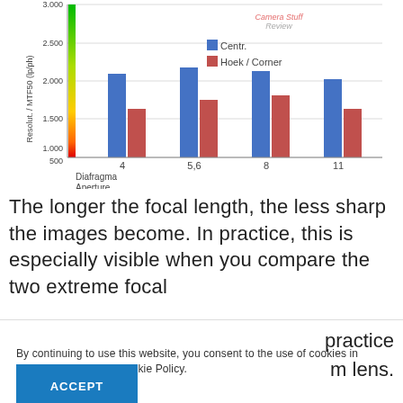[Figure (grouped-bar-chart): Camera Stuff Review]
The longer the focal length, the less sharp the images become. In practice, this is especially visible when you compare the two extreme focal
By continuing to use this website, you consent to the use of cookies in accordance with our Cookie Policy.
practice m lens.